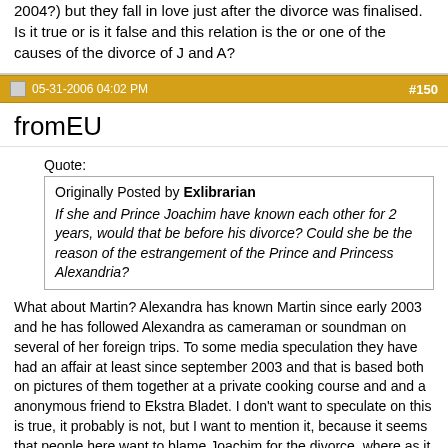2004?) but they fall in love just after the divorce was finalised. Is it true or is it false and this relation is the or one of the causes of the divorce of J and A?
05-31-2006 04:02 PM   #150
fromEU
Quote:
Originally Posted by Exlibrarian
If she and Prince Joachim have known each other for 2 years, would that be before his divorce? Could she be the reason of the estrangement of the Prince and Princess Alexandria?
What about Martin? Alexandra has known Martin since early 2003 and he has followed Alexandra as cameraman or soundman on several of her foreign trips. To some media speculation they have had an affair at least since september 2003 and that is based both on pictures of them together at a private cooking course and and a anonymous friend to Ekstra Bladet. I don't want to speculate on this is true, it probably is not, but I want to mention it, because it seems that people here want to blame Joachim for the divorce, where as it also could be Alexandra who is to blame. Joachim met Marie about two years at party of friends. That does not mean they started